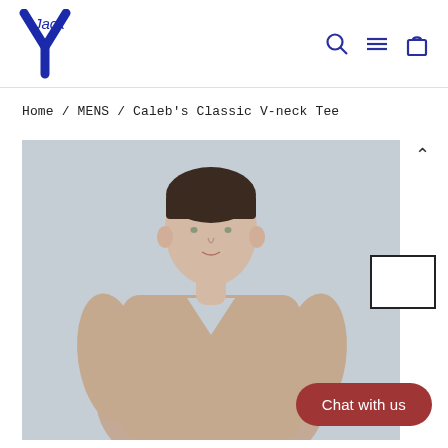Jack — Home / MENS / Caleb's Classic V-neck Tee
Home / MENS / Caleb's Classic V-neck Tee
[Figure (photo): Male model wearing a beige/taupe V-neck t-shirt against a light grey background, cropped to upper body]
Chat with us